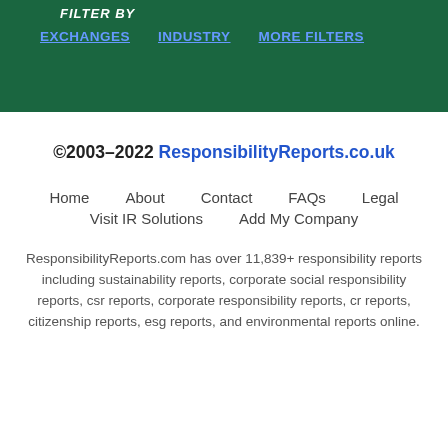FILTER BY
EXCHANGES   INDUSTRY   MORE FILTERS
©2003-2022 ResponsibilityReports.co.uk
Home   About   Contact   FAQs   Legal   Visit IR Solutions   Add My Company
ResponsibilityReports.com has over 11,839+ responsibility reports including sustainability reports, corporate social responsibility reports, csr reports, corporate responsibility reports, cr reports, citizenship reports, esg reports, and environmental reports online.